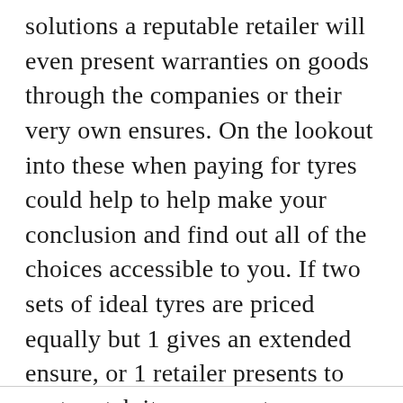solutions a reputable retailer will even present warranties on goods through the companies or their very own ensures. On the lookout into these when paying for tyres could help to help make your conclusion and find out all of the choices accessible to you. If two sets of ideal tyres are priced equally but 1 gives an extended ensure, or 1 retailer presents to cost match its opponents you could locate the entire process of obtaining tyres a complete great deal a lot more gratifying and end up getting a fantastic deal.